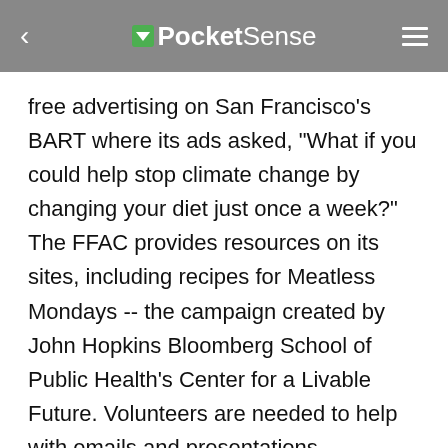PocketSense
free advertising on San Francisco's BART where its ads asked, "What if you could help stop climate change by changing your diet just once a week?" The FFAC provides resources on its sites, including recipes for Meatless Mondays -- the campaign created by John Hopkins Bloomberg School of Public Health's Center for a Livable Future. Volunteers are needed to help with emails and presentations.
Ohio's Happy Trails Farm Animal Sanctuary rescues, rehabilitates and finds caring